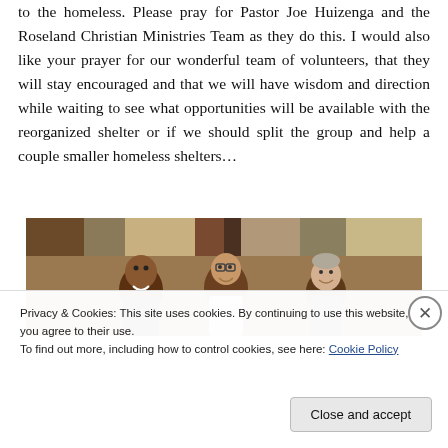to the homeless. Please pray for Pastor Joe Huizenga and the Roseland Christian Ministries Team as they do this. I would also like your prayer for our wonderful team of volunteers, that they will stay encouraged and that we will have wisdom and direction while waiting to see what opportunities will be available with the reorganized shelter or if we should split the group and help a couple smaller homeless shelters…
[Figure (photo): Partial photo of three people (men) smiling, with colorful decorative panels visible at the top of the image behind them.]
Privacy & Cookies: This site uses cookies. By continuing to use this website, you agree to their use.
To find out more, including how to control cookies, see here: Cookie Policy
Close and accept